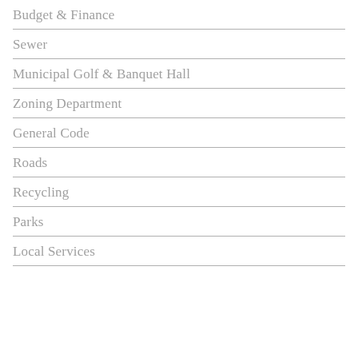Budget & Finance
Sewer
Municipal Golf & Banquet Hall
Zoning Department
General Code
Roads
Recycling
Parks
Local Services